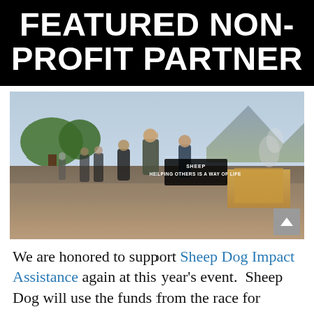FEATURED NON-PROFIT PARTNER
[Figure (photo): Group of muddy runners in an obstacle race, some carrying a black flag that reads 'HELPING OTHERS IS A WAY OF LIFE' with a Sheep Dog logo. Mountains and trees in the background, smoke visible. A scroll-up button appears in the bottom right corner.]
We are honored to support Sheep Dog Impact Assistance again at this year's event.  Sheep Dog will use the funds from the race for various program